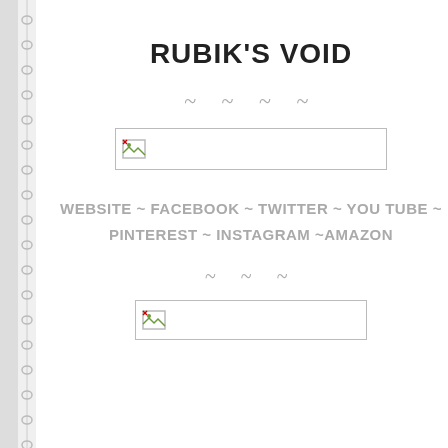RUBIK'S VOID
~ ~ ~ ~
[Figure (other): Broken/placeholder image thumbnail, rectangular, with small broken image icon on left]
WEBSITE ~ FACEBOOK ~ TWITTER ~ YOU TUBE ~ PINTEREST ~ INSTAGRAM ~AMAZON
~ ~ ~
[Figure (other): Broken/placeholder image thumbnail, rectangular, with small broken image icon on left]